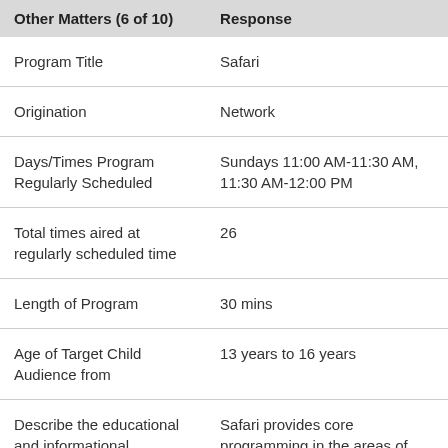| Other Matters (6 of 10) | Response |
| --- | --- |
| Program Title | Safari |
| Origination | Network |
| Days/Times Program Regularly Scheduled | Sundays 11:00 AM-11:30 AM, 11:30 AM-12:00 PM |
| Total times aired at regularly scheduled time | 26 |
| Length of Program | 30 mins |
| Age of Target Child Audience from | 13 years to 16 years |
| Describe the educational and informational... | Safari provides core programming in the areas of children's... |